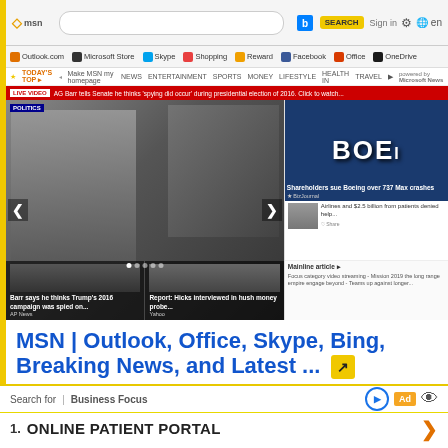[Figure (screenshot): Screenshot of MSN.com news portal in a web browser showing browser chrome with Bing search bar, bookmarks bar, MSN navigation, red breaking news banner, news carousel with political figures, Boeing logo article, and sidebar articles]
MSN | Outlook, Office, Skype, Bing, Breaking News, and Latest ...
https://www.msn.com/en-us
Your customizable and curated collection of the best in sted news plus coverage of sports, entertainment, money, ther, travel, health and lifestyle.
Search for  |  Business Focus
1.  ONLINE PATIENT PORTAL